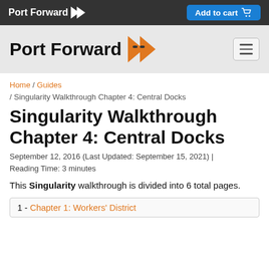Port Forward >> | Add to cart
[Figure (logo): Port Forward logo with orange arrow icon and hamburger menu button]
Home / Guides / Singularity Walkthrough Chapter 4: Central Docks
Singularity Walkthrough Chapter 4: Central Docks
September 12, 2016 (Last Updated: September 15, 2021) | Reading Time: 3 minutes
This Singularity walkthrough is divided into 6 total pages.
1 - Chapter 1: Workers' District